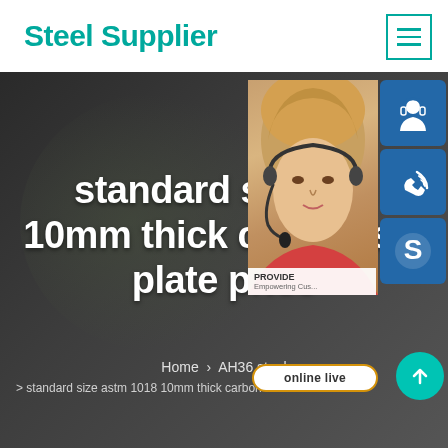Steel Supplier
[Figure (screenshot): Website screenshot showing Steel Supplier page with customer service representative image, 24/7 support panel, contact icons (headset, phone, Skype), online live button, and scroll-up button]
standard size astm 1018 10mm thick carbon steel plate price
Home > AH36 steel
> standard size astm 1018 10mm thick carbon steel